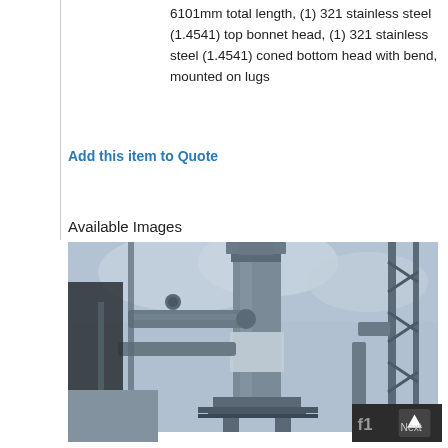6101mm total length, (1) 321 stainless steel (1.4541) top bonnet head, (1) 321 stainless steel (1.4541) coned bottom head with bend, mounted on lugs
Add this item to Quote
Available Images
[Figure (photo): Industrial vessel or column equipment photographed from below, showing pipes, flanges and structural steelwork against a cloudy sky. Grey painted steel equipment on a plant structure.]
Next